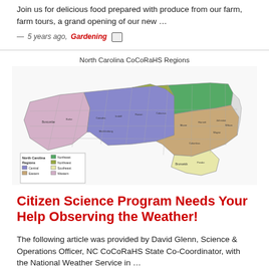Join us for delicious food prepared with produce from our farm, farm tours, a grand opening of our new …
— 5 years ago, Gardening [icon]
[Figure (map): North Carolina CoCoRaHS Regions map showing counties color-coded by region: Central (blue/purple), Eastern (tan/brown), Northeast (green), Northwest (olive/yellow-green), Southeast (pale yellow), Western (light purple/mauve). Legend shown in lower left.]
Citizen Science Program Needs Your Help Observing the Weather!
The following article was provided by David Glenn, Science & Operations Officer, NC CoCoRaHS State Co-Coordinator, with the National Weather Service in …